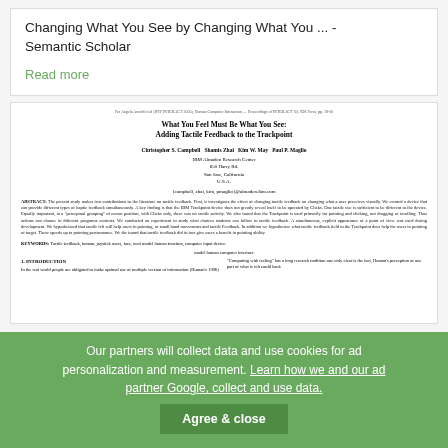Changing What You See by Changing What You ... - Semantic Scholar
Read more
[Figure (screenshot): Screenshot of a scanned academic paper titled 'What You Feel Must Be What You See: Adding Tactile Feedback to the Trackpoint' by Christopher S. Campbell, Shamis Zhai, Kim W. May, Paul P. Maglio, from IBM Almaden Research Center, San Jose, California, U.S.A., with abstract, keywords, and introduction sections visible.]
Our partners will collect data and use cookies for ad personalization and measurement. Learn how we and our ad partner Google, collect and use data.
Agree & close